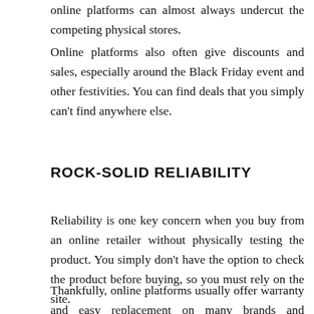online platforms can almost always undercut the competing physical stores. Online platforms also often give discounts and sales, especially around the Black Friday event and other festivities. You can find deals that you simply can't find anywhere else.
ROCK-SOLID RELIABILITY
Reliability is one key concern when you buy from an online retailer without physically testing the product. You simply don't have the option to check the product before buying, so you must rely on the site.
Thankfully, online platforms usually offer warranty and easy replacement on many brands and products, including Wireless Printer. For